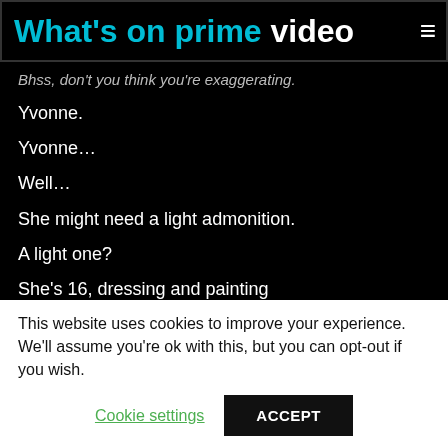What's on prime video
Bhss, don't you think you're exaggerating.
Yvonne.
Yvonne…
Well…
She might need a light admonition.
A light one?
She's 16, dressing and painting
her face outrageously.
This website uses cookies to improve your experience. We'll assume you're ok with this, but you can opt-out if you wish.
Cookie settings
ACCEPT